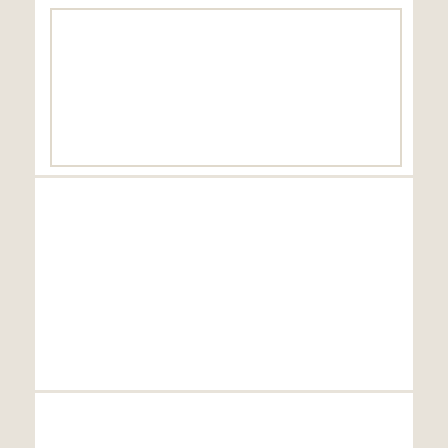[Figure (other): White card with inner bordered white box at the top of the page]
Load More
Training Videos